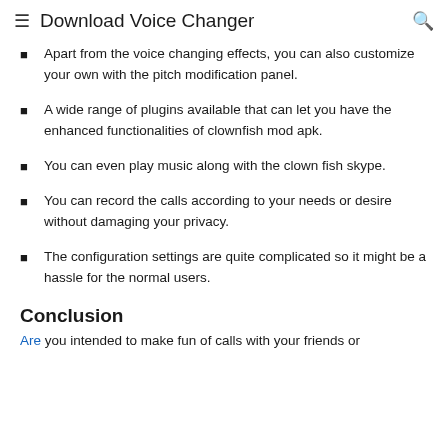Download Voice Changer
Apart from the voice changing effects, you can also customize your own with the pitch modification panel.
A wide range of plugins available that can let you have the enhanced functionalities of clownfish mod apk.
You can even play music along with the clown fish skype.
You can record the calls according to your needs or desire without damaging your privacy.
The configuration settings are quite complicated so it might be a hassle for the normal users.
Conclusion
Are you intended to make fun of calls with your friends or